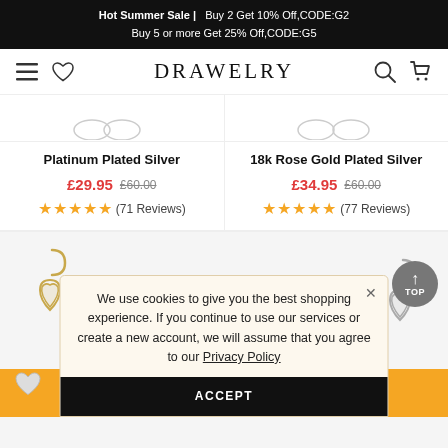Hot Summer Sale | Buy 2 Get 10% Off,CODE:G2  Buy 5 or more Get 25% Off,CODE:G5
DRAWELRY
Platinum Plated Silver  £29.95  £60.00  (71 Reviews)
18k Rose Gold Plated Silver  £34.95  £60.00  (77 Reviews)
We use cookies to give you the best shopping experience. If you continue to use our services or create a new account, we will assume that you agree to our Privacy Policy
ACCEPT